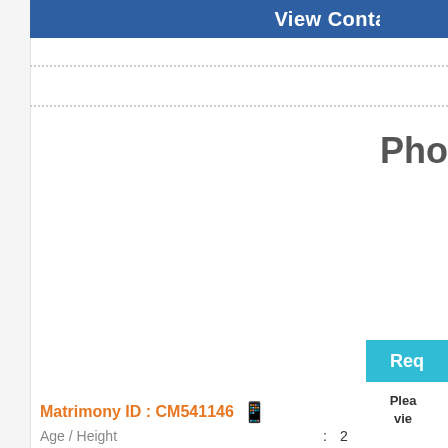[Figure (screenshot): View Contact button (blue/navy background) spanning most of the top width]
Pho
[Figure (screenshot): Req button (teal/cyan background) partially visible at right edge]
Plea vie
Matrimony ID : CM541146
Age / Height : 2
Religion : C
Caste / Subcaste : M
Education : M
Profession : M